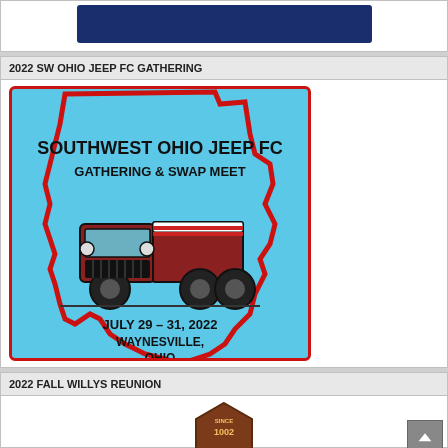[Figure (illustration): Partial view of a dark blue banner or sign at the top of the page, cropped.]
2022 SW OHIO JEEP FC GATHERING
[Figure (illustration): Event logo/poster for Southwest Ohio Jeep FC Gathering & Swap Meet. Light blue background shaped like the state of Ohio with a red outline. Features a dark red vintage Jeep FC truck illustration. Text reads: SOUTHWEST OHIO JEEP FC, GATHERING & SWAP MEET, JULY 29 - 31, 2022, WAYNESVILLE, OHIO.]
2022 FALL WILLYS REUNION
[Figure (logo): Partial view of a brown/red badge logo with text beginning SINCE 1002, partially visible at the bottom of the page.]